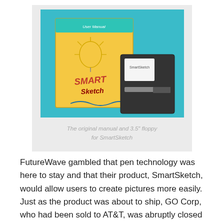[Figure (photo): Photo of the original SmartSketch user manual (a booklet with the SmartSketch logo featuring a lightbulb and a wave/surfer graphic) alongside a 3.5-inch floppy disk, placed on a teal/cyan background.]
The original manual and 3.5″ floppy for SmartSketch
FutureWave gambled that pen technology was here to stay and that their product, SmartSketch, would allow users to create pictures more easily. Just as the product was about to ship, GO Corp, who had been sold to AT&T, was abruptly closed down. FutureWave